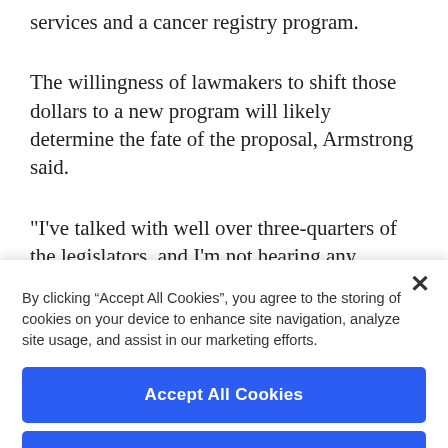services and a cancer registry program.
The willingness of lawmakers to shift those dollars to a new program will likely determine the fate of the proposal, Armstrong said.
"I've talked with well over three-quarters of the legislators, and I'm not hearing any concern about the value of delivering primary
By clicking “Accept All Cookies”, you agree to the storing of cookies on your device to enhance site navigation, analyze site usage, and assist in our marketing efforts.
Accept All Cookies
Reject All
Cookies Settings